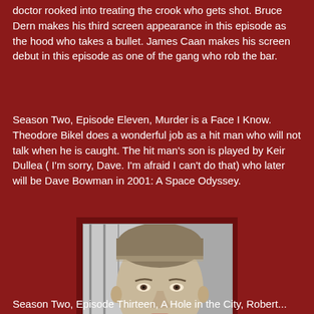doctor rooked into treating the crook who gets shot.  Bruce Dern makes his third screen appearance in this episode as the hood who takes a bullet.  James Caan makes his screen debut in this episode as one of the gang who rob the bar.
Season Two, Episode Eleven, Murder is a Face I Know.  Theodore Bikel does a wonderful job as a hit man who will not talk when he is caught.  The hit man's son is played by Keir Dullea ( I'm sorry, Dave. I'm afraid I can't do that) who later will be Dave Bowman in 2001:  A Space Odyssey.
[Figure (photo): Black and white photograph of a man (Keir Dullea) in a white t-shirt, looking slightly to the side, with stairs visible in the background.]
Season Two, Episode Thirteen, A Hole in the City,  Robert...